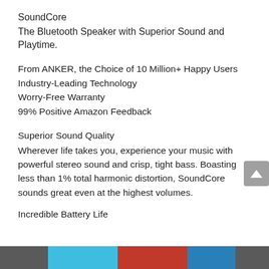SoundCore
The Bluetooth Speaker with Superior Sound and Playtime.
From ANKER, the Choice of 10 Million+ Happy Users
Industry-Leading Technology
Worry-Free Warranty
99% Positive Amazon Feedback
Superior Sound Quality
Wherever life takes you, experience your music with powerful stereo sound and crisp, tight bass. Boasting less than 1% total harmonic distortion, SoundCore sounds great even at the highest volumes.
Incredible Battery Life